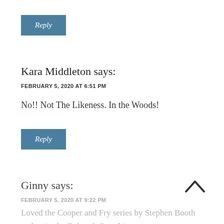Reply
Kara Middleton says:
FEBRUARY 5, 2020 AT 6:51 PM
No!! Not The Likeness. In the Woods!
Reply
Ginny says:
FEBRUARY 5, 2020 AT 9:22 PM
Loved the Cooper and Fry series by Stephen Booth and series by Deborah Crombie.